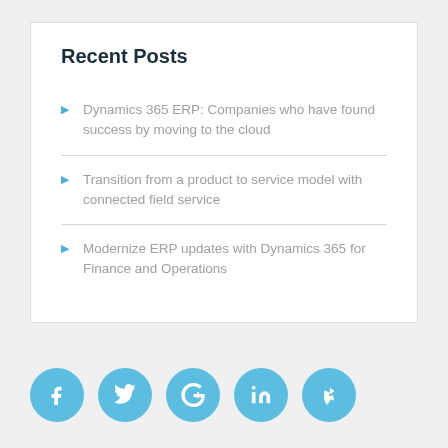Recent Posts
Dynamics 365 ERP: Companies who have found success by moving to the cloud
Transition from a product to service model with connected field service
Modernize ERP updates with Dynamics 365 for Finance and Operations
[Figure (infographic): Row of five circular social media icon buttons in light blue: Facebook, Twitter, Google+, LinkedIn, Yelp]